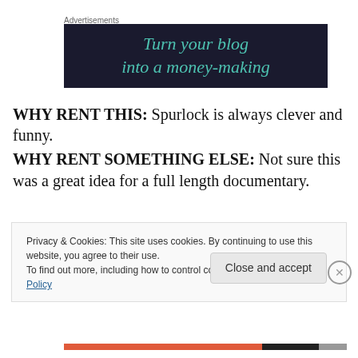Advertisements
[Figure (illustration): Dark navy advertisement banner with teal italic text reading 'Turn your blog into a money-making']
WHY RENT THIS: Spurlock is always clever and funny.
WHY RENT SOMETHING ELSE: Not sure this was a great idea for a full length documentary.
Privacy & Cookies: This site uses cookies. By continuing to use this website, you agree to their use.
To find out more, including how to control cookies, see here: Cookie Policy
Close and accept